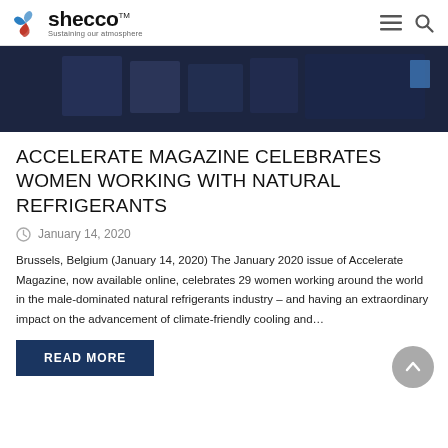shecco — Sustaining our atmosphere
[Figure (photo): Dark navy blue hero image showing partial view of event or magazine cover elements]
ACCELERATE MAGAZINE CELEBRATES WOMEN WORKING WITH NATURAL REFRIGERANTS
January 14, 2020
Brussels, Belgium (January 14, 2020) The January 2020 issue of Accelerate Magazine, now available online, celebrates 29 women working around the world in the male-dominated natural refrigerants industry – and having an extraordinary impact on the advancement of climate-friendly cooling and…
READ MORE